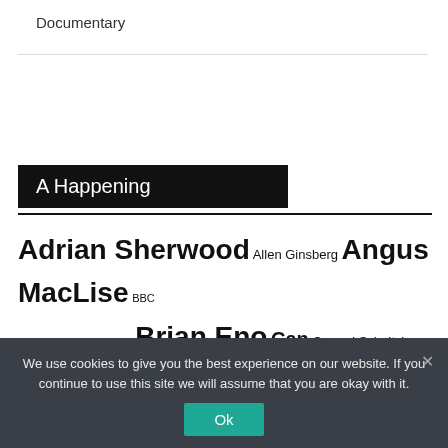Documentary
[Figure (illustration): Three social media icons: Twitter (blue bird), Facebook (dark blue f), Instagram (gradient camera)]
A Happening
Adrian Sherwood Allen Ginsberg Angus MacLise BBC Radiophonic Workshop Brian Eno Can Conrad Schnitzler Daphne Oram Demetrio Stratos DIY Don Cherry Enzo Minarelli Faust Geir Jenssen Graeme Revell Gregory Whitehead Haruomi
We use cookies to give you the best experience on our website. If you continue to use this site we will assume that you are okay with it.